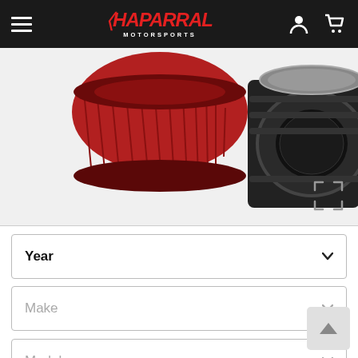Chaparral Motorsports
[Figure (photo): Two K&N performance air filters side by side — one showing the red filter element, the other showing the black rubber flange/opening end.]
Year
Make
Model
CHECK FITMENT